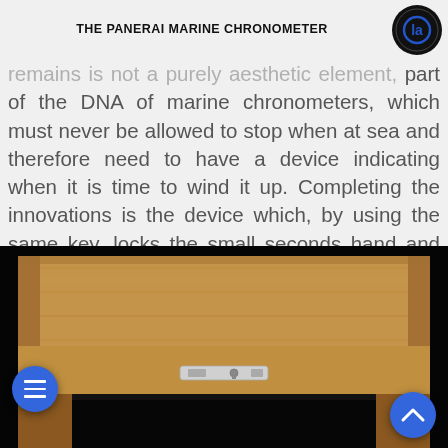THE PANERAI MARINE CHRONOMETER
remains is not a purely aesthetic element, part of the DNA of marine chronometers, which must never be allowed to stop when at sea and therefore need to have a device indicating when it is time to wind it up. Completing the innovations is the device which, by using the same key, locks the small seconds hand and the whole movement, thus enabling the clock to be perfectly synchronised.
[Figure (photo): A wooden marine chronometer box photographed from above/front, showing a light oak/maple wood box with dovetail joints at corners, a metal latch mechanism in the center front, and an open black interior compartment at the bottom. The box sits against a black background.]